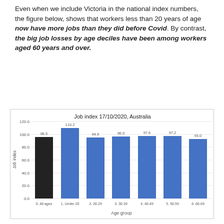Even when we include Victoria in the national index numbers, the figure below, shows that workers less than 20 years of age now have more jobs than they did before Covid. By contrast, the big job losses by age deciles have been among workers aged 60 years and over.
[Figure (bar-chart): Job index 17/10/2020, Australia]